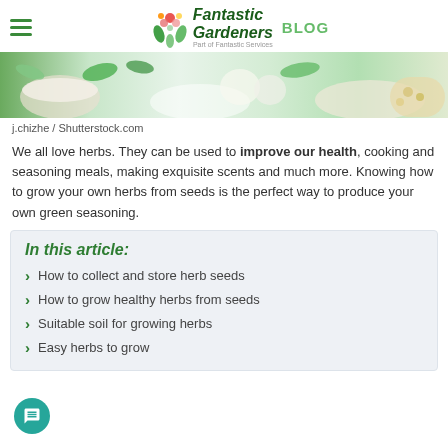Fantastic Gardeners BLOG
[Figure (photo): Hero image of herbs, vegetables, bowls and green leaves on a table]
j.chizhe / Shutterstock.com
We all love herbs. They can be used to improve our health, cooking and seasoning meals, making exquisite scents and much more. Knowing how to grow your own herbs from seeds is the perfect way to produce your own green seasoning.
In this article:
How to collect and store herb seeds
How to grow healthy herbs from seeds
Suitable soil for growing herbs
Easy herbs to grow